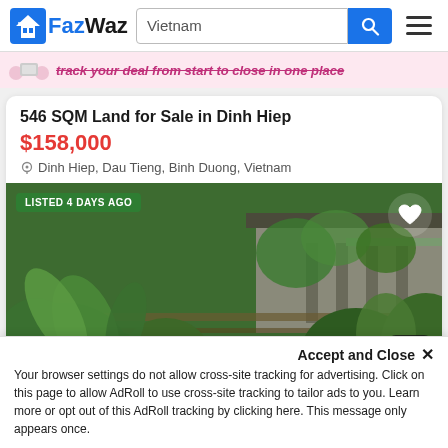[Figure (logo): FazWaz logo with house icon in blue]
Vietnam
[Figure (screenshot): Banner with text: track your deal from start to close in one place]
546 SQM Land for Sale in Dinh Hiep
$158,000
Dinh Hiep, Dau Tieng, Binh Duong, Vietnam
[Figure (photo): Photo of overgrown land with a building partially visible behind dense green vegetation and a wire fence. Badge reads: LISTED 4 DAYS AGO]
Accept and Close ✕
Your browser settings do not allow cross-site tracking for advertising. Click on this page to allow AdRoll to use cross-site tracking to tailor ads to you. Learn more or opt out of this AdRoll tracking by clicking here. This message only appears once.